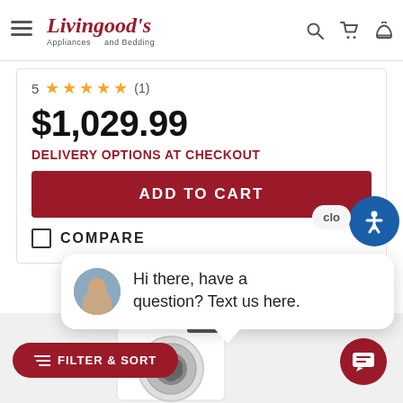Livingood's Appliances and Bedding
★★★★★ (1)
$1,029.99
DELIVERY OPTIONS AT CHECKOUT
ADD TO CART
COMPARE
Hi there, have a question? Text us here.
FILTER & SORT